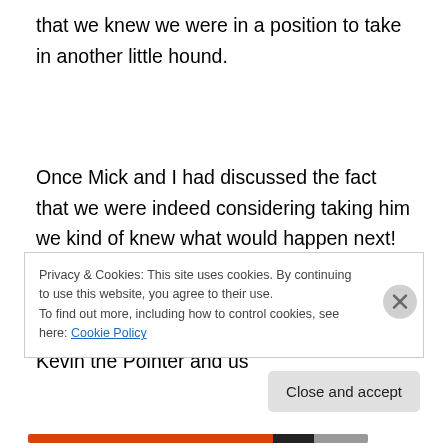that we knew we were in a position to take in another little hound.
Once Mick and I had discussed the fact that we were indeed considering taking him we kind of knew what would happen next!  We went to visit him on Saturday and one look at his little face and the deal was pretty much done, on the basis that if he fit in with Kevin the Pointer and us
Privacy & Cookies: This site uses cookies. By continuing to use this website, you agree to their use.
To find out more, including how to control cookies, see here: Cookie Policy
Close and accept